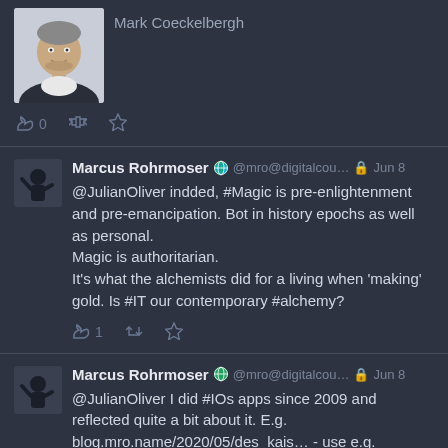[Figure (screenshot): Partial tweet from Mark Coeckelbergh showing profile photo and name, with reply/retweet/like action bar showing 0 replies]
Marcus Rohrmoser @mro@digitalcou… Jun 8
@JulianOliver indded, #Magic is pre-enlightenment and pre-emancipation. Bot in history epochs as well as personal. Magic is authoritarian.
It's what the alchemists did for a living when 'making' gold. Is #IT our contemporary #alchemy?
Marcus Rohrmoser @mro@digitalcou… Jun 8
@JulianOliver I did #IOs apps since 2009 and reflected quite a bit about it. E.g. blog.mro.name/2020/05/des_kais… - use e.g. deepl.com to translate.